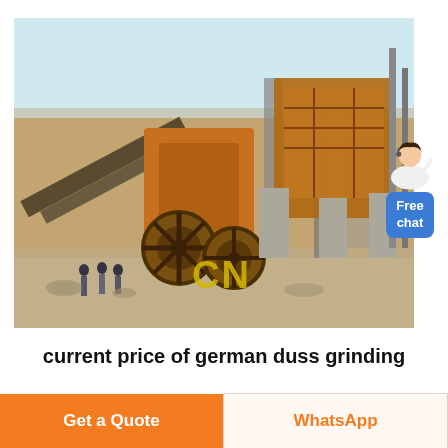[Figure (photo): Outdoor industrial mining/crushing machinery plant with large orange mechanical equipment, conveyor belts, workers in background, concrete pillars, dusty yard, 'CN' watermark in yellow on the image]
current price of german duss grinding
Get a Quote
WhatsApp